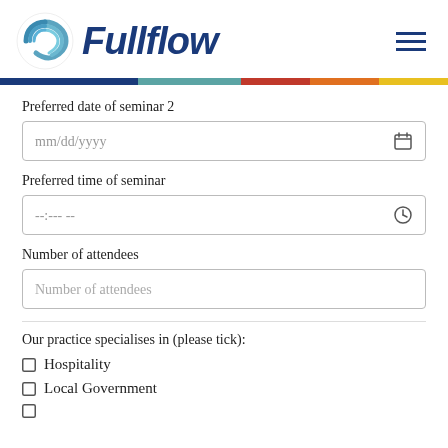Fullflow
Preferred date of seminar 2
mm/dd/yyyy
Preferred time of seminar
--:--- --
Number of attendees
Number of attendees
Our practice specialises in (please tick):
Hospitality
Local Government